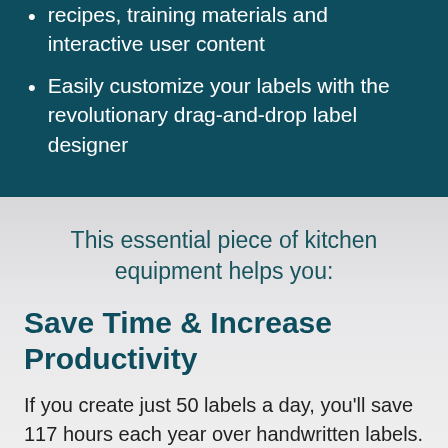recipes, training materials and interactive user content
Easily customize your labels with the revolutionary drag-and-drop label designer
This essential piece of kitchen equipment helps you:
Save Time & Increase Productivity
If you create just 50 labels a day, you'll save 117 hours each year over handwritten labels. What can you do with